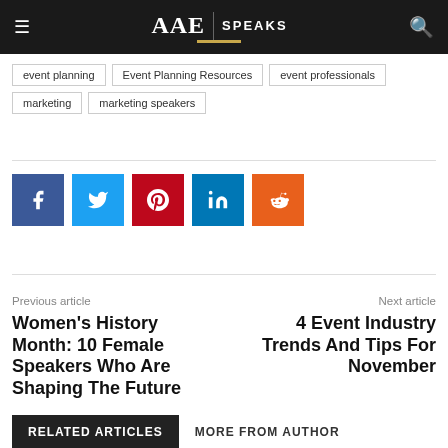AAE SPEAKS
event planning
Event Planning Resources
event professionals
marketing
marketing speakers
[Figure (infographic): Social share buttons: Facebook (blue), Twitter (light blue), Pinterest (red), LinkedIn (dark blue), Reddit (orange)]
Previous article
Women's History Month: 10 Female Speakers Who Are Shaping The Future
Next article
4 Event Industry Trends And Tips For November
RELATED ARTICLES
MORE FROM AUTHOR